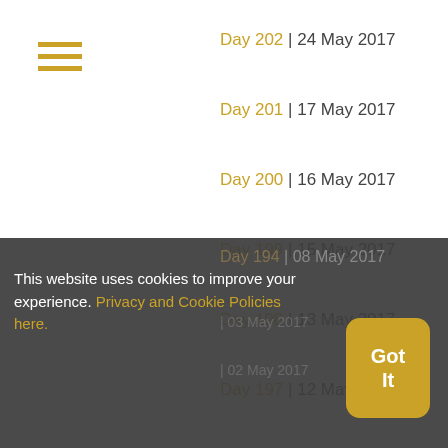[Figure (other): Hamburger menu icon (three horizontal golden lines)]
Day 202 | 24 May 2017
Day 201 | 17 May 2017
Day 200 | 16 May 2017
Day 199 | 15 May 2017
Day 198 | 13 May 2017
Day 197 | 12 May 2017
[Figure (other): Social media icons: Twitter bird, Facebook f, Instagram camera, RSS feed, Newspaper/media, Envelope/email]
Day 196 | 11 May 2017
Day 195 | 10 May 2017
Day 194 | 08 May 2017
This website uses cookies to improve your experience. Privacy and Cookie Policies here.
Got It